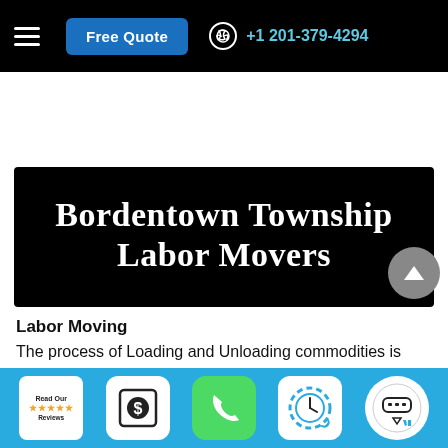Free Quote  +1 201-379-4294
Bordentown Township Labor Movers
Labor Moving
The process of Loading and Unloading commodities is important yet very risky and tedious task while
Read Our Reviews | $ | Phone | Clock | Chat